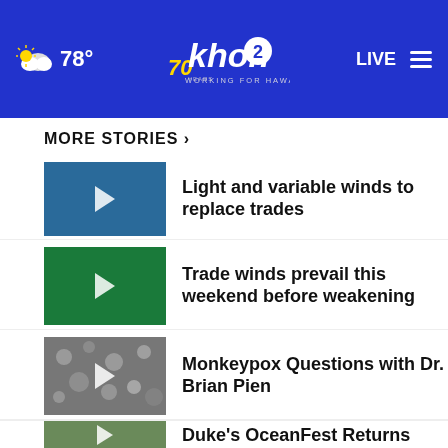khon2 WORKING FOR HAWAII — 78° — LIVE
MORE STORIES ›
Light and variable winds to replace trades
Trade winds prevail this weekend before weakening
Monkeypox Questions with Dr. Brian Pien
Duke's OceanFest Returns
Breakfast at Heavenly Island Lifestyle
[Figure (screenshot): Advertisement banner for Ala Moana Hotel by Mantra — Kama'aina Offers, Use Promo Code LOCALSONLY]
Farmer's Market Find with Twingy